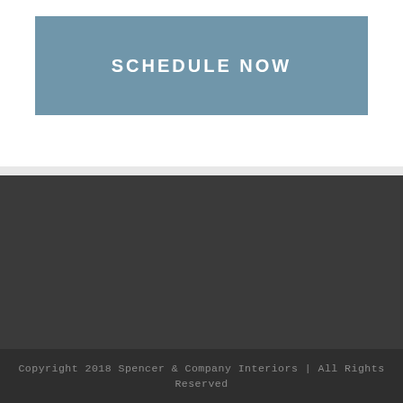SCHEDULE NOW
Copyright 2018 Spencer & Company Interiors | All Rights Reserved